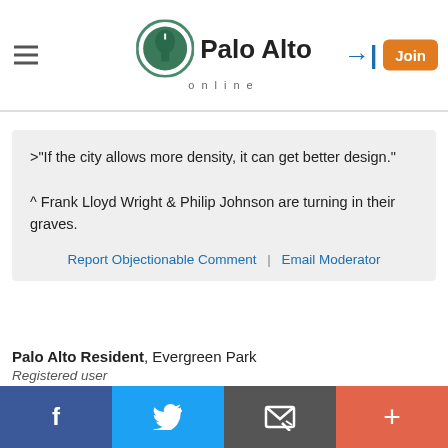Palo Alto online
>"If the city allows more density, it can get better design."

^ Frank Lloyd Wright & Philip Johnson are turning in their graves.
Report Objectionable Comment | Email Moderator
Palo Alto Resident, Evergreen Park
Registered user
on Dec 3, 2020 at 12:05 pm
I wonder if anyone has considered what kind of housing families want -- not just single tech workers using a apartment during the week and fleeing to SF...